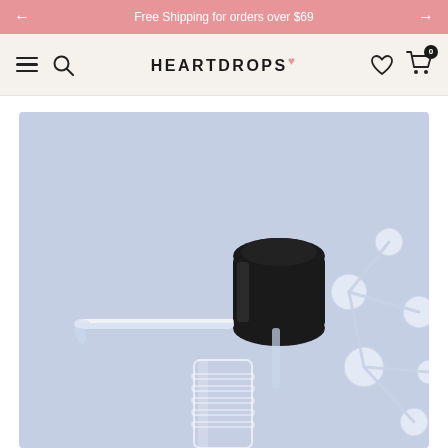Free Shipping for orders over $69
HEARTDROPS
[Figure (photo): Close-up product photo of a serum dropper bottle cap with glass pipette and a molecular structure graphic on a light blue background]